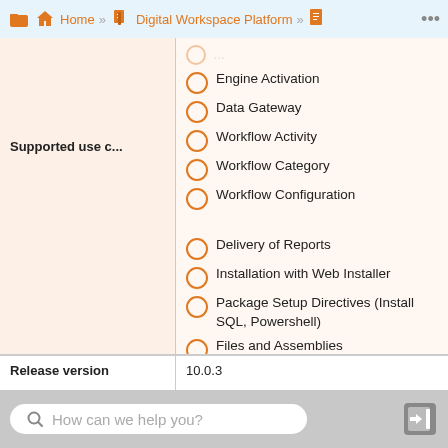Home » Digital Workspace Platform » ...
Engine Activation
Data Gateway
Workflow Activity
Workflow Category
Workflow Configuration
| Supported use c... |  |
| --- | --- |
|  | Delivery of Reports |
|  | Installation with Web Installer |
|  | Package Setup Directives (Install SQL, Powershell) |
|  | Files and Assemblies |
|  | Workspaces |
|  | Object Full Export option (Mode="Merge" and Register="false") |
| Release version | 10.0.3 |
| --- | --- |